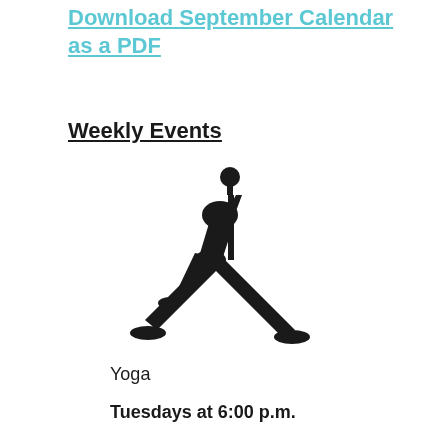Download September Calendar as a PDF
Weekly Events
[Figure (illustration): Black silhouette of a person in a yoga triangle pose (Trikonasana), arms extended, one touching the ground, legs spread wide.]
Yoga
Tuesdays at 6:00 p.m.